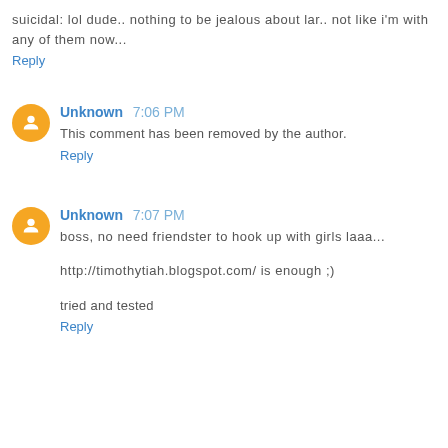suicidal: lol dude.. nothing to be jealous about lar.. not like i'm with any of them now...
Reply
Unknown  7:06 PM
This comment has been removed by the author.
Reply
Unknown  7:07 PM
boss, no need friendster to hook up with girls laaa...
http://timothytiah.blogspot.com/ is enough ;)
tried and tested
Reply